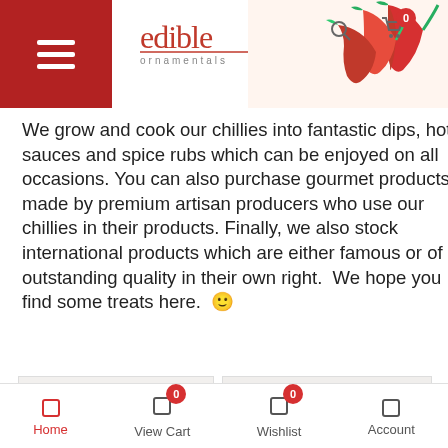Edible Ornamentals - header with logo and hamburger menu
We grow and cook our chillies into fantastic dips, hot sauces and spice rubs which can be enjoyed on all occasions. You can also purchase gourmet products made by premium artisan producers who use our chillies in their products. Finally, we also stock international products which are either famous or of outstanding quality in their own right.  We hope you find some treats here. 🙂
[Figure (photo): Badgers Chilli Serenade Chilli Seasoning jar with black lid and dark label]
[Figure (photo): Mr Vikkis Banana chilli sauce jar with yellow label, black lid, Great Taste 2015 award badge, Med to Hot]
Home   View Cart 0   Wishlist 0   Account